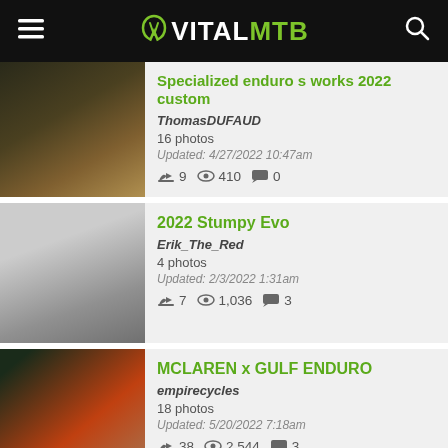VITALMTB
Specialized enduro s works 2022 custom | ThomasDUFAUD | 16 photos | Updated: 4/27/2022 10:47am | 9 likes | 410 views | 0 comments
2022 Stumpy Evo | Erik_The_Red | 4 photos | Updated: 2/3/2022 1:31am | 7 likes | 1,036 views | 3 comments
MCLAREN x GULF ENDURO | empirecycles | 18 photos | Updated: 5/20/2022 7:18am | 38 likes | 2,544 views | 3 comments